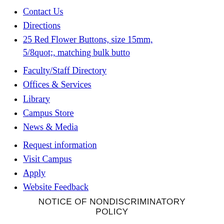Contact Us
Directions
25 Red Flower Buttons, size 15mm, 5/8quot;, matching bulk butto
Faculty/Staff Directory
Offices & Services
Library
Campus Store
News & Media
Request information
Visit Campus
Apply
Website Feedback
NOTICE OF NONDISCRIMINATORY POLICY